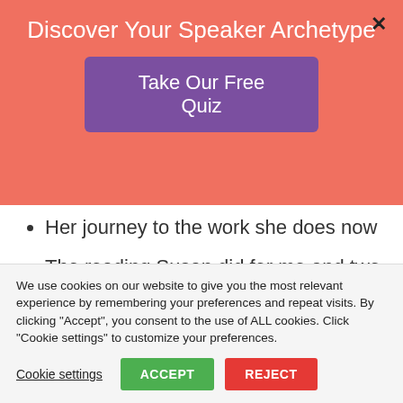Discover Your Speaker Archetype
Take Our Free Quiz
Her journey to the work she does now
The reading Susan did for me and two of the symbols that stuck with me
We use cookies on our website to give you the most relevant experience by remembering your preferences and repeat visits. By clicking “Accept”, you consent to the use of ALL cookies. Click “Cookie settings” to customize your preferences.
Cookie settings | ACCEPT | REJECT